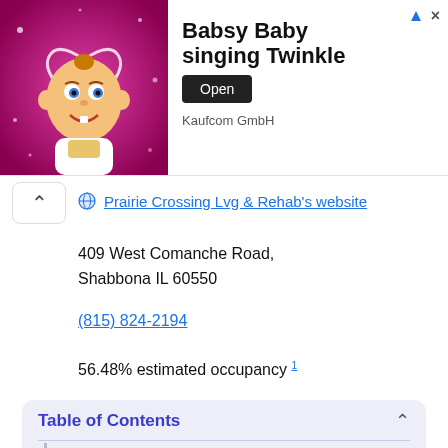[Figure (illustration): Advertisement banner showing animated baby character with 'Babsy Baby singing Twinkle' by Kaufcom GmbH with an Open button]
Prairie Crossing Lvg & Rehab's website
409 West Comanche Road, Shabbona IL 60550
(815) 824-2194
56.48% estimated occupancy 1
Table of Contents
Quick Details
Specialized Services
Registered Staff Hours
Facility Inspections